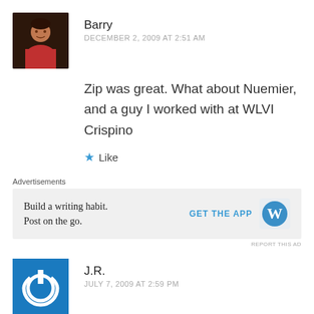[Figure (photo): Profile photo of Barry, a person wearing a red shirt, dark background]
Barry
DECEMBER 2, 2009 AT 2:51 AM
Zip was great. What about Nuemier, and a guy I worked with at WLVI Crispino
Like
Advertisements
Build a writing habit. Post on the go.
GET THE APP
[Figure (logo): WordPress logo - white W in a blue circle]
REPORT THIS AD
[Figure (logo): J.R. avatar - power button icon in white on blue square background]
J.R.
JULY 7, 2009 AT 2:59 PM